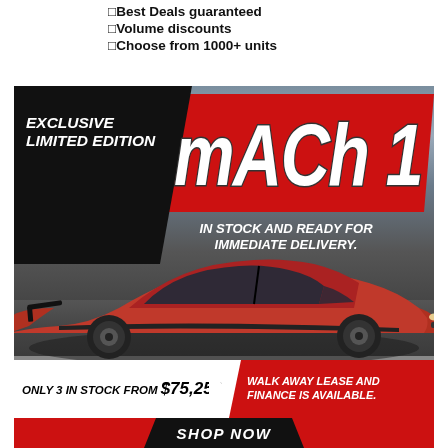□Best Deals guaranteed
□Volume discounts
□Choose from 1000+ units
[Figure (illustration): Ford Mustang Mach 1 advertisement. Red sports car on track. Text: EXCLUSIVE LIMITED EDITION / MACH 1 / IN STOCK AND READY FOR IMMEDIATE DELIVERY. / ONLY 3 IN STOCK FROM $75,250 / WALK AWAY LEASE AND FINANCE IS AVAILABLE. / SHOP NOW]
ONLY 3 IN STOCK FROM $75,250
WALK AWAY LEASE AND FINANCE IS AVAILABLE.
SHOP NOW